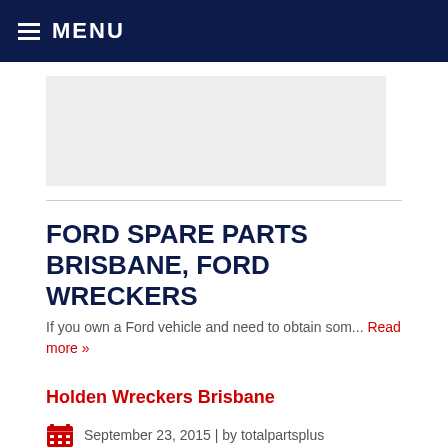≡ MENU
[Figure (other): Advertisement placeholder rectangle with light gray background]
FORD SPARE PARTS BRISBANE, FORD WRECKERS
If you own a Ford vehicle and need to obtain som... Read more »
Holden Wreckers Brisbane
September 23, 2015 | by totalpartsplus
[Figure (logo): Holden lion badge logo — circular chrome badge with lion emblem, partially visible]